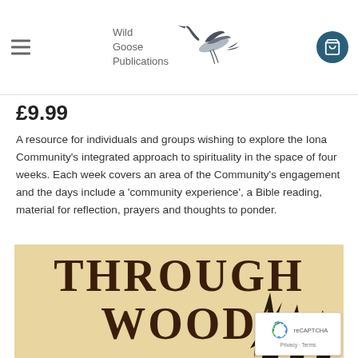Wild Goose Publications
£9.99
A resource for individuals and groups wishing to explore the Iona Community's integrated approach to spirituality in the space of four weeks. Each week covers an area of the Community's engagement and the days include a 'community experience', a Bible reading, material for reflection, prayers and thoughts to ponder.
[Figure (illustration): Book cover showing the title 'THROUGH WOOD' in large dark serif letters on a parchment/tan background with tree silhouettes at the bottom.]